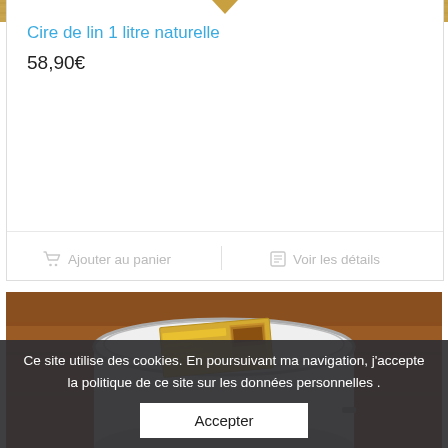[Figure (photo): Top strip of a product image showing wooden/woven texture in orange-brown tones]
Cire de lin 1 litre naturelle
58,90€
🛒 Ajouter au panier  |  🗒 Voir les détails
[Figure (photo): A white metal paint can/bucket with a store business card on top, sitting on a wooden surface]
Ce site utilise des cookies. En poursuivant ma navigation, j'accepte la politique de ce site sur les données personnelles .
Accepter